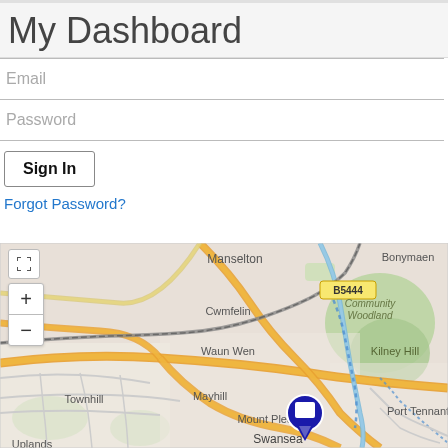My Dashboard
Email
Password
Sign In
Forgot Password?
[Figure (map): OpenStreetMap showing Swansea area with neighborhoods: Manselton, Bonymaen, Cwmfelin, Waun Wen, Community Woodland, Kilney Hill, Townhill, Mayhill, Mount Pleasant, Port Tennant, Swansea, Uplands. Road B5444 visible. Blue hotel/accommodation marker pin near Mount Pleasant. Map controls: fullscreen button, zoom in (+) and zoom out (-) buttons.]